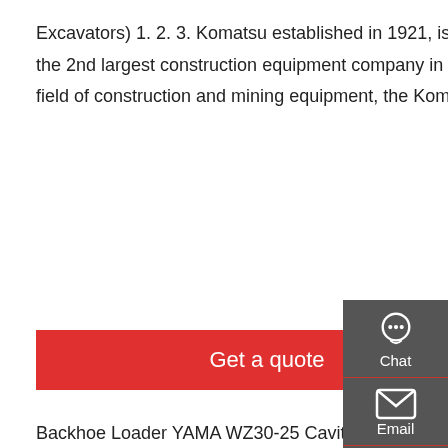Excavators) 1. 2. 3. Komatsu established in 1921, is a diversified provider of industrial-use products and is the 2nd largest construction equipment company in the world. While remaining an international leader in the field of construction and mining equipment, the Komatsu Group engages in other
Get a quote
Backhoe Loader YAMA WZ30-25 Cavite - 28 Oct 20...
Backhoe Loader Rail Rider In Northampton MA USA
Backhoe In South Africa Gumtree Classifieds In South
BACKHOE LOADER B900 - SBEPL
Backhoe Loaders 432 - Cat Global-Selector Caterpillar